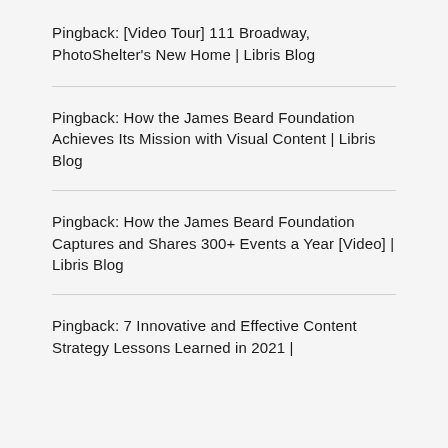Pingback: [Video Tour] 111 Broadway, PhotoShelter's New Home | Libris Blog
Pingback: How the James Beard Foundation Achieves Its Mission with Visual Content | Libris Blog
Pingback: How the James Beard Foundation Captures and Shares 300+ Events a Year [Video] | Libris Blog
Pingback: 7 Innovative and Effective Content Strategy Lessons Learned in 2021 |